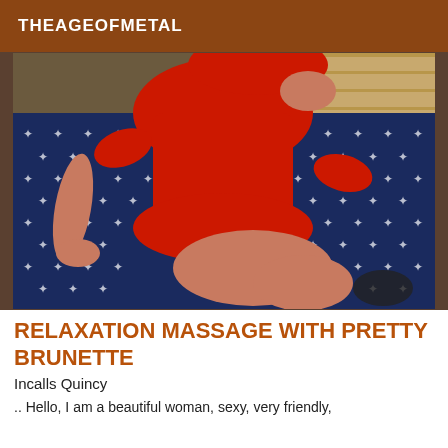THEAGEOFMETAL
[Figure (photo): A woman wearing a red outfit sitting on a blue star-patterned surface against a wooden floor background]
RELAXATION MASSAGE WITH PRETTY BRUNETTE
Incalls Quincy
.. Hello, I am a beautiful woman, sexy, very friendly,